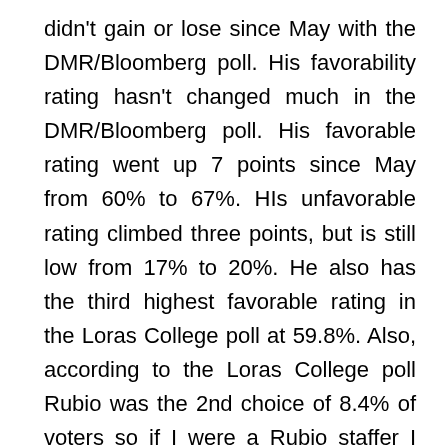didn't gain or lose since May with the DMR/Bloomberg poll. His favorability rating hasn't changed much in the DMR/Bloomberg poll. His favorable rating went up 7 points since May from 60% to 67%. HIs unfavorable rating climbed three points, but is still low from 17% to 20%. He also has the third highest favorable rating in the Loras College poll at 59.8%. Also, according to the Loras College poll Rubio was the 2nd choice of 8.4% of voters so if I were a Rubio staffer I wouldn't be as concerned with the numbers than if I were working for Santorum, Perry or Christie.
Kasich gets an honorable mention, but unlike Cruz